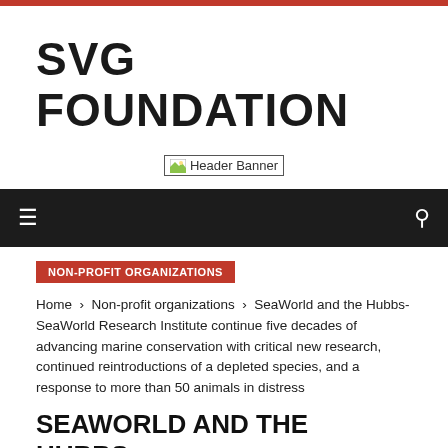SVG FOUNDATION
[Figure (other): Header Banner broken image placeholder]
navigation bar with menu icon and search icon
NON-PROFIT ORGANIZATIONS
Home › Non-profit organizations › SeaWorld and the Hubbs-SeaWorld Research Institute continue five decades of advancing marine conservation with critical new research, continued reintroductions of a depleted species, and a response to more than 50 animals in distress
SEAWORLD AND THE HUBBS-SEAWORLD RESEARCH INSTITUTE